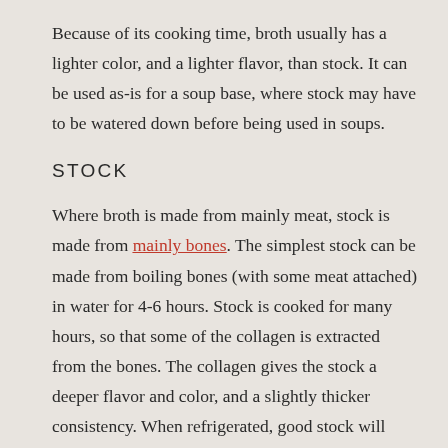Because of its cooking time, broth usually has a lighter color, and a lighter flavor, than stock. It can be used as-is for a soup base, where stock may have to be watered down before being used in soups.
STOCK
Where broth is made from mainly meat, stock is made from mainly bones. The simplest stock can be made from boiling bones (with some meat attached) in water for 4-6 hours. Stock is cooked for many hours, so that some of the collagen is extracted from the bones. The collagen gives the stock a deeper flavor and color, and a slightly thicker consistency. When refrigerated, good stock will have the consistency of gelatin and return to liquid when it is heated. (Most store-bought stocks do not have this quality.) Traditionally, stocks were made